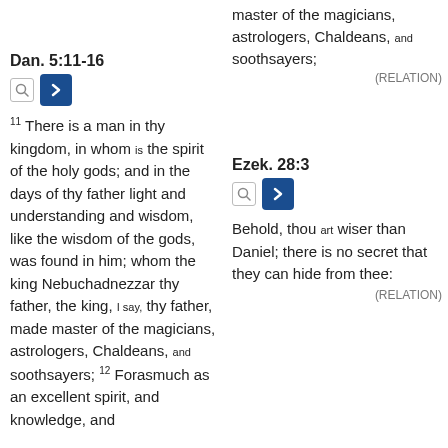master of the magicians, astrologers, Chaldeans, and soothsayers;
(RELATION)
Dan. 5:11-16
[Figure (screenshot): Search icon and blue arrow navigation button for Dan. 5:11-16]
11 There is a man in thy kingdom, in whom is the spirit of the holy gods; and in the days of thy father light and understanding and wisdom, like the wisdom of the gods, was found in him; whom the king Nebuchadnezzar thy father, the king, I say, thy father, made master of the magicians, astrologers, Chaldeans, and soothsayers; 12 Forasmuch as an excellent spirit, and knowledge, and
Ezek. 28:3
[Figure (screenshot): Search icon and blue arrow navigation button for Ezek. 28:3]
Behold, thou art wiser than Daniel; there is no secret that they can hide from thee:
(RELATION)